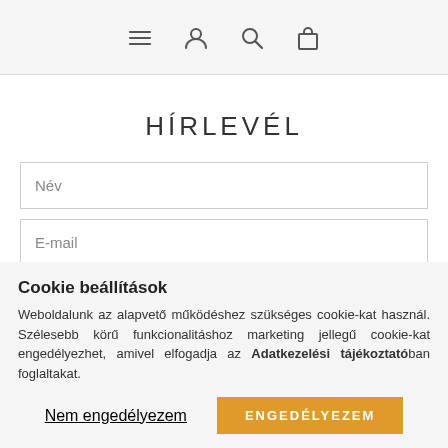Navigation icons: hamburger menu, user account, search, shopping bag
HÍRLEVÉL
Név
E-mail
Hozzájárulok az adataim kezeléséhez és elfogadom az Adatkezelési tájékoztatót.
FELIRATKOZÁS
Cookie beállítások
Weboldalunk az alapvető működéshez szükséges cookie-kat használ. Szélesebb körű funkcionalitáshoz marketing jellegű cookie-kat engedélyezhet, amivel elfogadja az Adatkezelési tájékoztatóban foglaltakat.
Nem engedélyezem
ENGEDÉLYEZEM